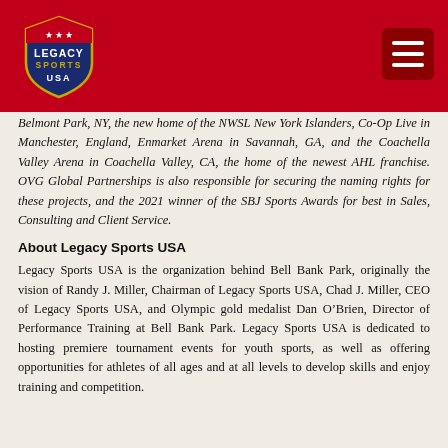[Figure (logo): Legacy Sports USA logo with shield shape, stars, and basketball elements on red background header bar]
Belmont Park, NY, the new home of the NWSL New York Islanders, Co-Op Live in Manchester, England, Enmarket Arena in Savannah, GA, and the Coachella Valley Arena in Coachella Valley, CA, the home of the newest AHL franchise. OVG Global Partnerships is also responsible for securing the naming rights for these projects, and the 2021 winner of the SBJ Sports Awards for best in Sales, Consulting and Client Service.
About Legacy Sports USA
Legacy Sports USA is the organization behind Bell Bank Park, originally the vision of Randy J. Miller, Chairman of Legacy Sports USA, Chad J. Miller, CEO of Legacy Sports USA, and Olympic gold medalist Dan O’Brien, Director of Performance Training at Bell Bank Park. Legacy Sports USA is dedicated to hosting premiere tournament events for youth sports, as well as offering opportunities for athletes of all ages and at all levels to develop skills and enjoy training and competition.